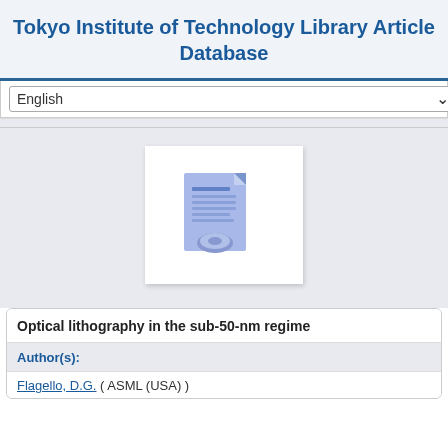Tokyo Institute of Technology Library Article Database
English
[Figure (illustration): Document/article icon: a blue-tinted document with text lines and a circular element at the bottom, on a white card background]
Optical lithography in the sub-50-nm regime
Author(s):
Flagello, D.G. ( ASML (USA) )